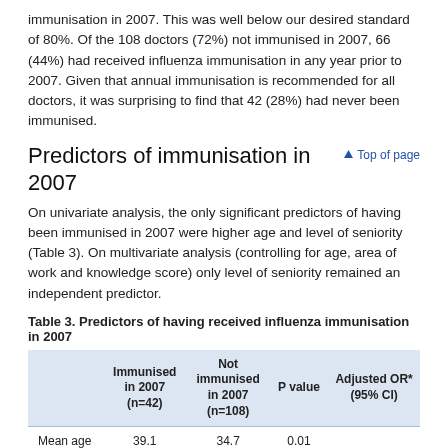immunisation in 2007. This was well below our desired standard of 80%. Of the 108 doctors (72%) not immunised in 2007, 66 (44%) had received influenza immunisation in any year prior to 2007. Given that annual immunisation is recommended for all doctors, it was surprising to find that 42 (28%) had never been immunised.
Predictors of immunisation in 2007
On univariate analysis, the only significant predictors of having been immunised in 2007 were higher age and level of seniority (Table 3). On multivariate analysis (controlling for age, area of work and knowledge score) only level of seniority remained an independent predictor.
Table 3. Predictors of having received influenza immunisation in 2007
|  | Immunised in 2007 (n=42) | Not immunised in 2007 (n=108) | P value | Adjusted OR* (95% CI) |
| --- | --- | --- | --- | --- |
| Mean age | 39.1 | 34.7 | 0.01 |  |